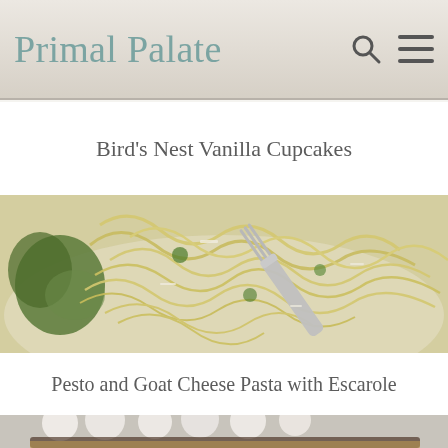Primal Palate
Bird's Nest Vanilla Cupcakes
[Figure (photo): Close-up photo of pasta noodles with pesto and greens, a silver fork twirling pasta in center, on a white plate]
Pesto and Goat Cheese Pasta with Escarole
[Figure (photo): Close-up photo of s'mores bark: layers of chocolate and toasted marshmallows on a cracker base, stacked pieces visible]